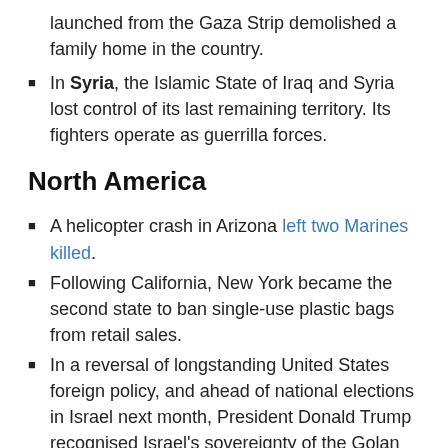launched from the Gaza Strip demolished a family home in the country.
In Syria, the Islamic State of Iraq and Syria lost control of its last remaining territory. Its fighters operate as guerrilla forces.
North America
A helicopter crash in Arizona left two Marines killed.
Following California, New York became the second state to ban single-use plastic bags from retail sales.
In a reversal of longstanding United States foreign policy, and ahead of national elections in Israel next month, President Donald Trump recognised Israel's sovereignty of the Golan Heights.